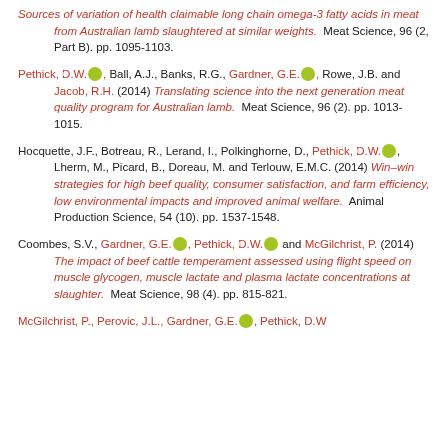Sources of variation of health claimable long chain omega-3 fatty acids in meat from Australian lamb slaughtered at similar weights. Meat Science, 96 (2, Part B). pp. 1095-1103.
Pethick, D.W., Ball, A.J., Banks, R.G., Gardner, G.E., Rowe, J.B. and Jacob, R.H. (2014) Translating science into the next generation meat quality program for Australian lamb. Meat Science, 96 (2). pp. 1013-1015.
Hocquette, J.F., Botreau, R., Lerand, I., Polkinghorne, D., Pethick, D.W., Lherm, M., Picard, B., Doreau, M. and Terlouw, E.M.C. (2014) Win-win strategies for high beef quality, consumer satisfaction, and farm efficiency, low environmental impacts and improved animal welfare. Animal Production Science, 54 (10). pp. 1537-1548.
Coombes, S.V., Gardner, G.E., Pethick, D.W. and McGilchrist, P. (2014) The impact of beef cattle temperament assessed using flight speed on muscle glycogen, muscle lactate and plasma lactate concentrations at slaughter. Meat Science, 98 (4). pp. 815-821.
McGilchrist, P., Perovic, J.L., Gardner, G.E., Pethick, D.W...